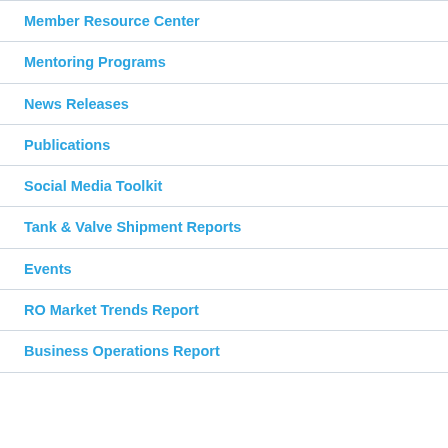Member Resource Center
Mentoring Programs
News Releases
Publications
Social Media Toolkit
Tank & Valve Shipment Reports
Events
RO Market Trends Report
Business Operations Report